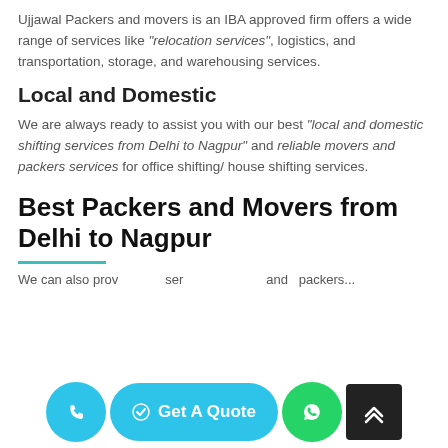Ujjawal Packers and movers is an IBA approved firm offers a wide range of services like "relocation services", logistics, and transportation, storage, and warehousing services.
Local and Domestic
We are always ready to assist you with our best "local and domestic shifting services from Delhi to Nagpur" and reliable movers and packers services for office shifting/ house shifting services.
Best Packers and Movers from Delhi to Nagpur
We can also provide services and packers...